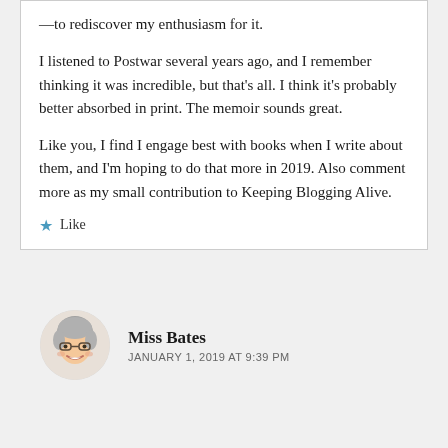—to rediscover my enthusiasm for it.

I listened to Postwar several years ago, and I remember thinking it was incredible, but that's all. I think it's probably better absorbed in print. The memoir sounds great.

Like you, I find I engage best with books when I write about them, and I'm hoping to do that more in 2019. Also comment more as my small contribution to Keeping Blogging Alive.
★ Like
[Figure (illustration): Circular avatar of Miss Bates: an illustrated emoji-style face with gray hair, glasses, and a smile]
Miss Bates
JANUARY 1, 2019 AT 9:39 PM